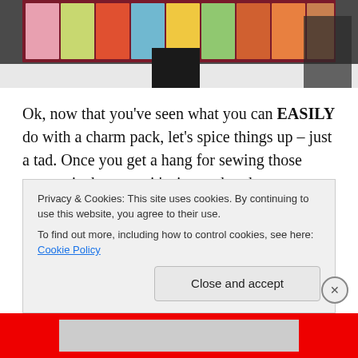[Figure (photo): Person holding a colorful patchwork quilt with various floral and geometric fabric patterns on a dark background]
Ok, now that you've seen what you can EASILY do with a charm pack, let's spice things up – just a tad.  Once you get a hang for sewing those quarter inch seams, it's time to break out some Half Square Triangles.  These babies are thebomb.com because you can arrange them to make
Privacy & Cookies: This site uses cookies. By continuing to use this website, you agree to their use.
To find out more, including how to control cookies, see here: Cookie Policy
Close and accept